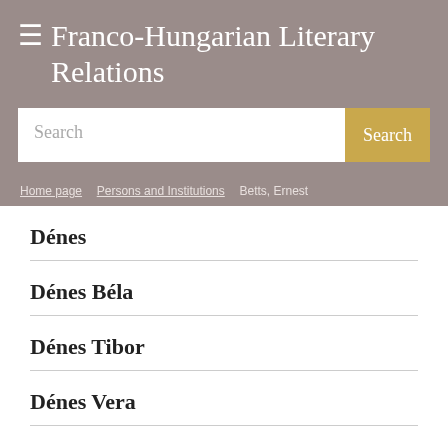Franco-Hungarian Literary Relations
Search
Home page > Persons and Institutions > Betts, Ernest
Dénes
Dénes Béla
Dénes Tibor
Dénes Vera